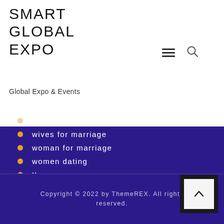SMART GLOBAL EXPO
Global Expo & Events
software development
wives for marriage
woman for marriage
women dating
Криптовалюты
Форекс Брокеры
Форекс Обучение
Copyright © 2022 by ThemeREX. All rights reserved.